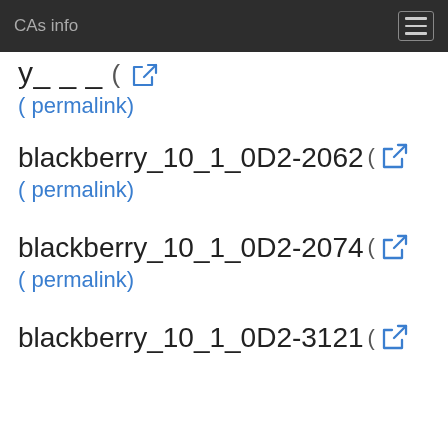CAs info
y_ _ _ ( permalink)
blackberry_10_1_0D2-2062 ( permalink)
blackberry_10_1_0D2-2074 ( permalink)
blackberry_10_1_0D2-3121 (